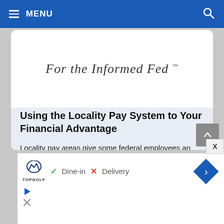MENU
[Figure (other): For the Informed Fed trademark logo/banner in italic serif font on white background]
Using the Locality Pay System to Your Financial Advantage
Locality pay areas give some federal employees an option to greatly increase their disposable income. Here is the complete list of 2022 pay raises by locality.
[Figure (other): Advertisement banner: Topgolf logo with Dine-in (checkmark) and Delivery (X) options and navigation arrow]